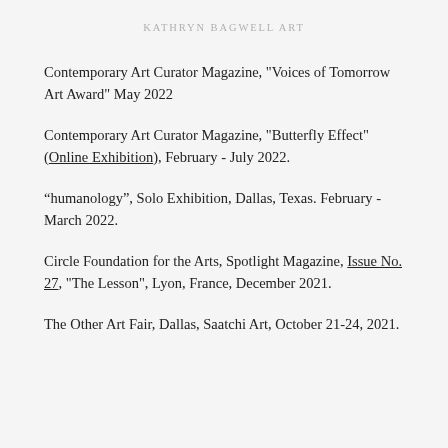KATHRYN BAGWELL ART
Contemporary Art Curator Magazine, "Voices of Tomorrow Art Award" May 2022
Contemporary Art Curator Magazine, "Butterfly Effect" (Online Exhibition), February - July 2022.
“humanology”, Solo Exhibition, Dallas, Texas. February - March 2022.
Circle Foundation for the Arts, Spotlight Magazine, Issue No. 27, "The Lesson", Lyon, France, December 2021.
The Other Art Fair, Dallas, Saatchi Art, October 21-24, 2021.